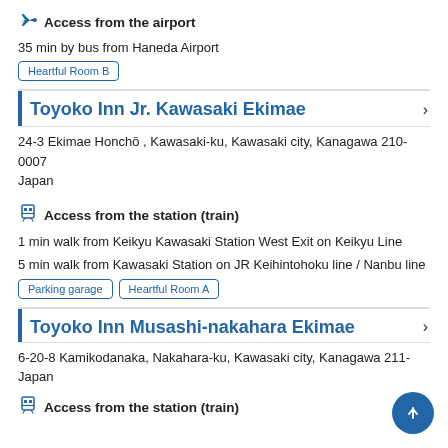Access from the airport
35 min by bus from Haneda Airport
Heartful Room B
Toyoko Inn Jr. Kawasaki Ekimae
24-3 Ekimae Honchō , Kawasaki-ku, Kawasaki city, Kanagawa 210-0007 Japan
Access from the station (train)
1 min walk from Keikyu Kawasaki Station West Exit on Keikyu Line
5 min walk from Kawasaki Station on JR Keihintohoku line / Nanbu line
Parking garage
Heartful Room A
Toyoko Inn Musashi-nakahara Ekimae
6-20-8 Kamikodanaka, Nakahara-ku, Kawasaki city, Kanagawa 211- Japan
Access from the station (train)